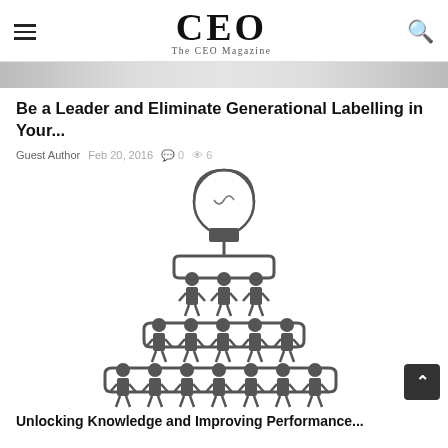CEO — The CEO Magazine
Be a Leader and Eliminate Generational Labelling in Your...
Guest Author  Feb 20, 2016  🗨 0  👁 6
[Figure (infographic): Infographic showing a light bulb connected to a hierarchical organizational chart made of stylized human figures arranged in three rows (3 on top, 5 in middle, 7 on bottom), connected by a continuous looping line.]
Unlocking Knowledge and Improving Performance...